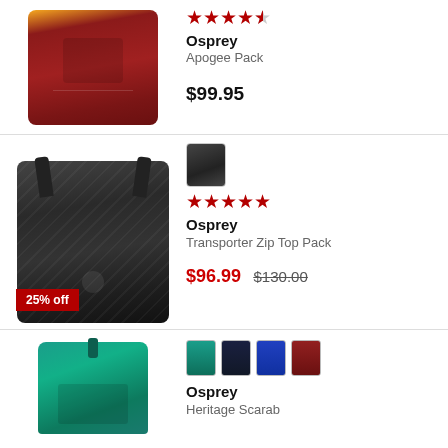[Figure (photo): Osprey Apogee Pack backpack in dark red/maroon color with gold accents, shown from the front]
[Figure (other): Star rating: 4.5 out of 5 stars in red]
Osprey
Apogee Pack
$99.95
[Figure (photo): Osprey Transporter Zip Top Pack backpack in black with geometric pattern, shown from front]
[Figure (photo): Small thumbnail of black Osprey Transporter Zip Top Pack]
[Figure (other): Star rating: 5 out of 5 stars in red]
Osprey
Transporter Zip Top Pack
25% off
$96.99
$130.00
[Figure (photo): Osprey Heritage Scarab backpack in teal/green color, partially visible]
[Figure (other): Color swatches: teal, navy, blue, red]
Osprey
Heritage Scarab